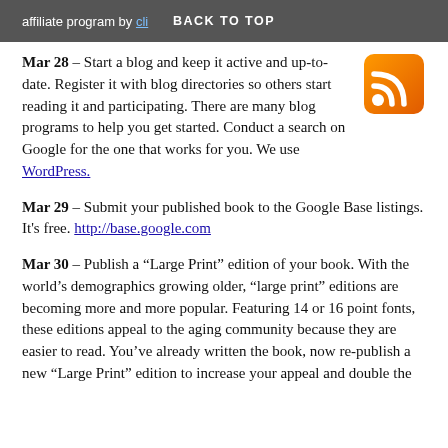affiliate program by cli BACK TO TOP
Mar 28 – Start a blog and keep it active and up-to-date. Register it with blog directories so others start reading it and participating. There are many blog programs to help you get started. Conduct a search on Google for the one that works for you. We use WordPress.
Mar 29 – Submit your published book to the Google Base listings. It's free. http://base.google.com
Mar 30 – Publish a “Large Print” edition of your book. With the world’s demographics growing older, “large print” editions are becoming more and more popular. Featuring 14 or 16 point fonts, these editions appeal to the aging community because they are easier to read. You’ve already written the book, now re-publish a new “Large Print” edition to increase your appeal and double the